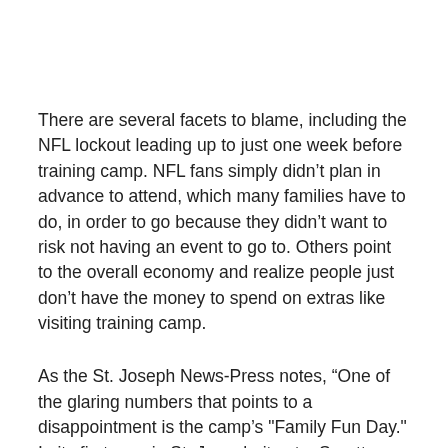There are several facets to blame, including the NFL lockout leading up to just one week before training camp. NFL fans simply didn't plan in advance to attend, which many families have to do, in order to go because they didn't want to risk not having an event to go to. Others point to the overall economy and realize people just don't have the money to spend on extras like visiting training camp.
As the St. Joseph News-Press notes, “One of the glaring numbers that points to a disappointment is the camp's "Family Fun Day." In its first year in St. Joseph, it set a Spratt Stadium record of 10,721 people. This